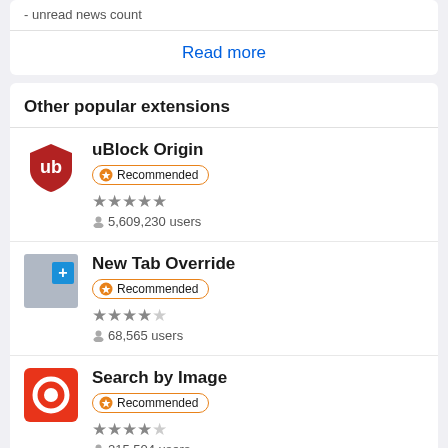- unread news count
Read more
Other popular extensions
uBlock Origin
Recommended
★★★★★
5,609,230 users
New Tab Override
Recommended
★★★★½
68,565 users
Search by Image
Recommended
★★★★½
215,504 users